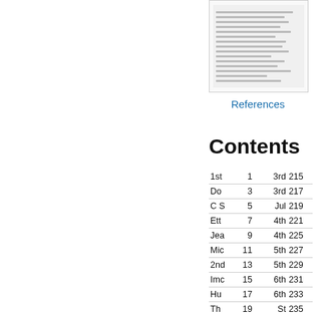[Figure (screenshot): Small thumbnail image of a document page showing text content]
References
Contents
| Entry | Page | Entry | Page |
| --- | --- | --- | --- |
| 1st | 1 | 3rd | 215 |
| Do | 3 | 3rd | 217 |
| C S | 5 | Jul | 219 |
| Ett | 7 | 4th | 221 |
| Jea | 9 | 4th | 225 |
| Mic | 11 | 5th | 227 |
| 2nd | 13 | 5th | 229 |
| Imc | 15 | 6th | 231 |
| Hu | 17 | 6th | 233 |
| Th | 19 | St | 235 |
| 3rd | 21 | Vis | 237 |